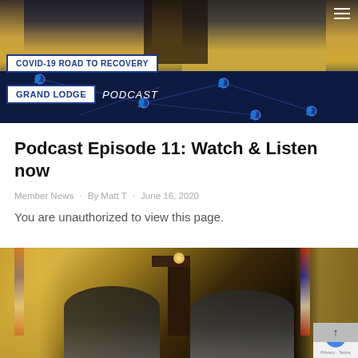[Figure (screenshot): Thumbnail image for podcast episode showing two men seated at a desk in a formal hall setting with blue network graphic overlay. Text badges read 'COVID-19 ROAD TO RECOVERY' and 'GRAND LODGE PODCAST']
Podcast Episode 11: Watch & Listen now
Member News · By Matt T · June 16, 2020
You are unauthorized to view this page.
[Figure (photo): Second photo showing two men seated at a formal lodge setting with Australian flags and a wooden podium in the background, gold curtains visible]